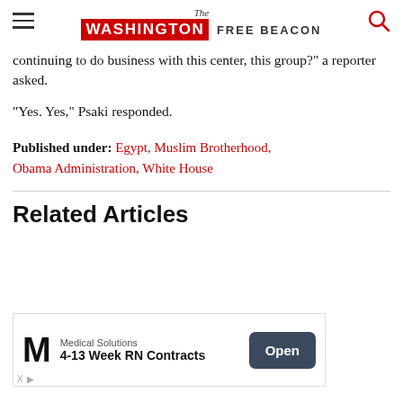The Washington Free Beacon
continuing to do business with this center, this group?" a reporter asked.
"Yes. Yes," Psaki responded.
Published under: Egypt, Muslim Brotherhood, Obama Administration, White House
Related Articles
[Figure (other): Advertisement banner: Medical Solutions, 4-13 Week RN Contracts, Open button]